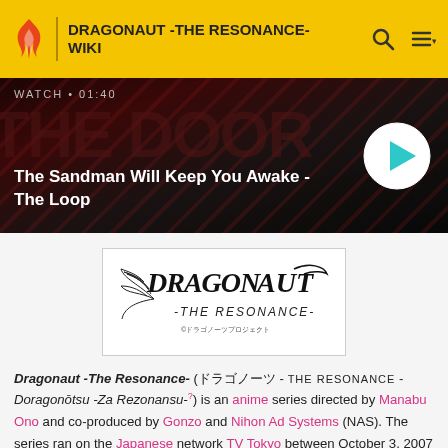DRAGONAUT -THE RESONANCE- WIKI
[Figure (screenshot): Video banner showing 'The Sandman Will Keep You Awake - The Loop' with watch time 01:40 and a play button]
[Figure (logo): Dragonaut -The Resonance- anime logo with stylized text and feather/wing design]
Dragonaut -The Resonance- (ドラゴノーツ -THE RESONANCE- Doragonōtsu -Za Rezonansu-?) is an anime series directed by Manabu Ono and co-produced by Gonzo and Nihon Ad Systems (NAS). The series ran on the Japanese network TV Tokyo between October 3, 2007 and March 26, 2008. Funimation Entertainment has acquired the license to distribute the anime series in North America later in 2009.